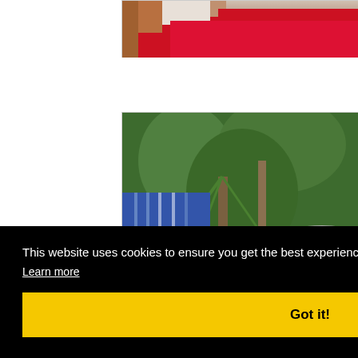[Figure (photo): Cropped photo showing a person in a red shirt, visible from shoulder/chest area, partial view at top of page]
[Figure (photo): Person in blue striped shirt gardening outdoors near green trees and plants, holding a hose or garden tool]
This website uses cookies to ensure you get the best experience on our website.
Learn more
Got it!